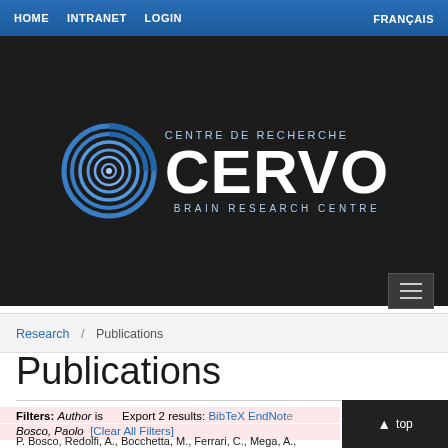HOME  INTRANET  LOGIN  FRANÇAIS
[Figure (logo): CERVO Brain Research Centre logo with blue spiral on dark background. Text reads CENTRE DE RECHERCHE CERVO BRAIN RESEARCH CENTRE]
Research / Publications
Publications
Filters: Author is  Export 2 results:  BibTeX  EndNote  Bosco, Paolo  [Clear All Filters]
P. Bosco, Redolfi, A., Bocchetta, M., Ferrari, C., Mega, A.,